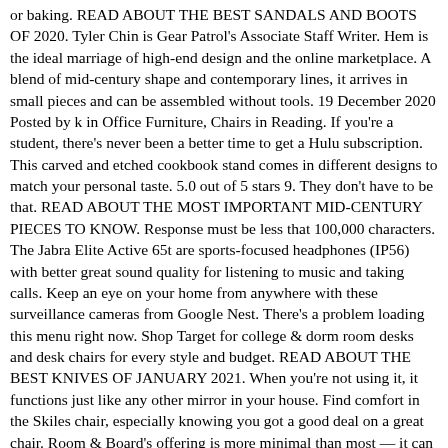or baking. READ ABOUT THE BEST SANDALS AND BOOTS OF 2020. Tyler Chin is Gear Patrol's Associate Staff Writer. Hem is the ideal marriage of high-end design and the online marketplace. A blend of mid-century shape and contemporary lines, it arrives in small pieces and can be assembled without tools. 19 December 2020 Posted by k in Office Furniture, Chairs in Reading. If you're a student, there's never been a better time to get a Hulu subscription. This carved and etched cookbook stand comes in different designs to match your personal taste. 5.0 out of 5 stars 9. They don't have to be that. READ ABOUT THE MOST IMPORTANT MID-CENTURY PIECES TO KNOW. Response must be less that 100,000 characters. The Jabra Elite Active 65t are sports-focused headphones (IP56) with better great sound quality for listening to music and taking calls. Keep an eye on your home from anywhere with these surveillance cameras from Google Nest. There's a problem loading this menu right now. Shop Target for college & dorm room desks and desk chairs for every style and budget. READ ABOUT THE BEST KNIVES OF JANUARY 2021. When you're not using it, it functions just like any other mirror in your house. Find comfort in the Skiles chair, especially knowing you got a good deal on a great chair. Room & Board's offering is more minimal than most — it can be dressed up or down and it looks good with furniture from almost any era. $1000–$1500 (Solid reading chairs in traditional shapes) Room&Board Eos Swivel Chair ($1099) Todd Snyder's collaborations with